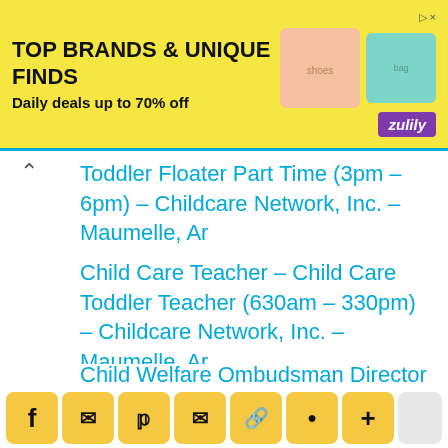[Figure (screenshot): Advertisement banner for Zulily: 'TOP BRANDS & UNIQUE FINDS / Daily deals up to 70% off' on yellow background with product images and purple Zulily logo]
Toddler Floater Part Time (3pm – 6pm) – Childcare Network, Inc. – Maumelle, Ar
Child Care Teacher – Child Care Toddler Teacher (630am – 330pm) – Childcare Network, Inc. – Maumelle, Ar
Child Care Teacher – Childcare Prek Teacher (9am – 6pm) – Childcare Network, Inc. – Maumelle, Ar
Child Welfare Ombudsman Director – Uams Medical Center – Little Rock